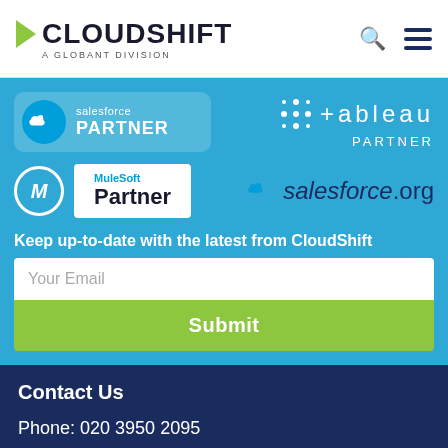[Figure (logo): CloudShift - A Globant Division logo with green arrow, search icon and hamburger menu]
[Figure (logo): Salesforce Partner badge, Tableau Partner logo, MuleSoft Partner badge, salesforce.org logo on blue background]
Keep up-to-date with the latest from CloudShift
Your Email
Submit
Contact Us
Phone: 020 3950 2095